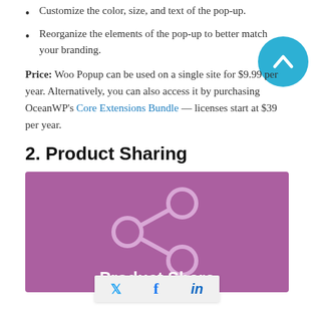Customize the color, size, and text of the pop-up.
Reorganize the elements of the pop-up to better match your branding.
Price: Woo Popup can be used on a single site for $9.99 per year. Alternatively, you can also access it by purchasing OceanWP's Core Extensions Bundle — licenses start at $39 per year.
2. Product Sharing
[Figure (illustration): Purple banner with a share/network icon (three circles connected by lines) and 'Product Share' text at the bottom, overlaid with a social sharing bar showing Twitter, Facebook, and LinkedIn icons.]
In order to maximize your client base, you need to ensure that your